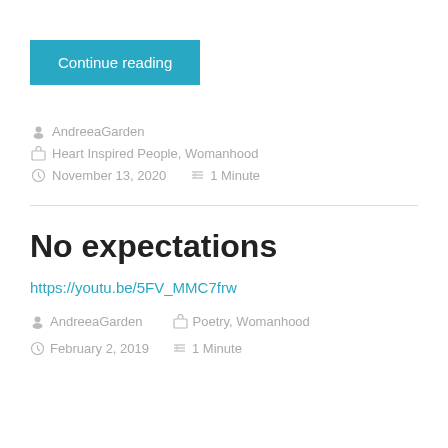Continue reading
AndreeaGarden
Heart Inspired People, Womanhood
November 13, 2020   1 Minute
No expectations
https://youtu.be/5FV_MMC7frw
AndreeaGarden
Poetry, Womanhood
February 2, 2019   1 Minute